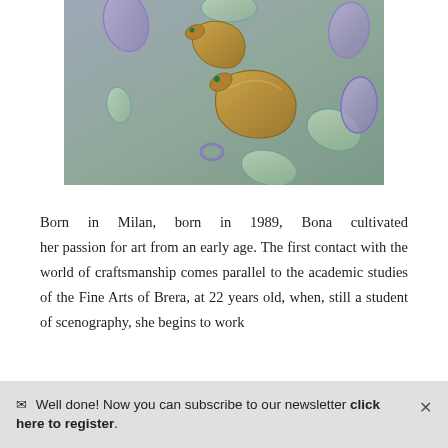[Figure (photo): Jewelry photo: snake-shaped gold rings with green gemstone eyes, surrounded by purple and green glass-like teardrop shapes floating on a muted green-grey background.]
Born in Milan, born in 1989, Bona cultivated her passion for art from an early age. The first contact with the world of craftsmanship comes parallel to the academic studies of the Fine Arts of Brera, at 22 years old, when, still a student of scenography, she begins to work
✉ Well done! Now you can subscribe to our newsletter click here to register.